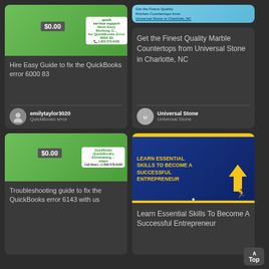[Figure (screenshot): QuickBooks service support card with green banner image showing $0.00 price badge and phone number 1-800-579-9430]
Hire Easy Guide to fix the QuickBooks error 6000 83
emilytaylor3020
QuickBooks error
[Figure (screenshot): Universal Stone marble countertops promotional image with blue/teal banner]
Get the Finest Quality Marble Countertops from Universal Stone in Charlotte, NC
Universal Stone
Universal Stone
[Figure (screenshot): QuickBooks error 6143 card with green banner and $0.00 price badge, Call Now: +1 800-579-9430]
Troubleshooting guide to fix the QuickBooks error 6143 with us
[Figure (illustration): Learn Essential Skills To Become A Successful Entrepreneur - blue background with yellow text and arrow graphic]
Learn Essential Skills To Become A Successful Entrepreneur